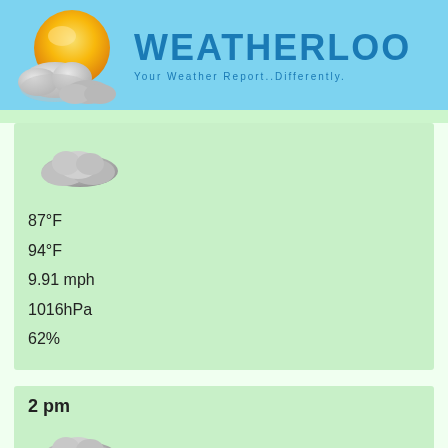[Figure (logo): Weatherloo website header with sun and cloud logo on blue background, site name WEATHERLOO and tagline Your Weather Report..Differently.]
[Figure (illustration): Cloudy/overcast weather icon for first time block]
87°F
94°F
9.91 mph
1016hPa
62%
2 pm
[Figure (illustration): Cloudy/overcast weather icon for 2 pm block]
89°F
97°F
11.21 mph
1016hPa